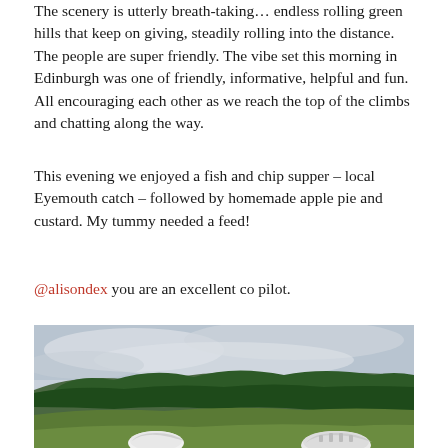The scenery is utterly breath-taking… endless rolling green hills that keep on giving, steadily rolling into the distance. The people are super friendly. The vibe set this morning in Edinburgh was one of friendly, informative, helpful and fun. All encouraging each other as we reach the top of the climbs and chatting along the way.
This evening we enjoyed a fish and chip supper – local Eyemouth catch – followed by homemade apple pie and custard. My tummy needed a feed!
@alisondex you are an excellent co pilot.
[Figure (photo): Outdoor landscape photo showing rolling green hills with a forest of evergreen trees and a cloudy sky. In the foreground are two cyclists' helmets visible at the bottom of the frame, suggesting the photo was taken from a hilltop vantage point.]